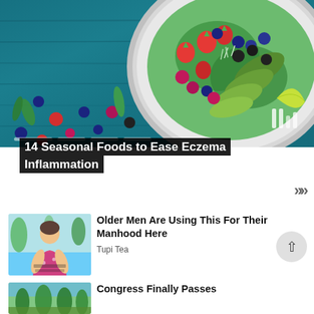[Figure (photo): Hero image of a fruit and vegetable salad plate on a blue wooden background with berries scattered around, with slideshow navigation dots]
14 Seasonal Foods to Ease Eczema Inflammation
[Figure (photo): Thumbnail of an older woman sitting outdoors near a pool]
Older Men Are Using This For Their Manhood Here
Tupi Tea
[Figure (photo): Thumbnail of a tree-lined outdoor scene]
Congress Finally Passes